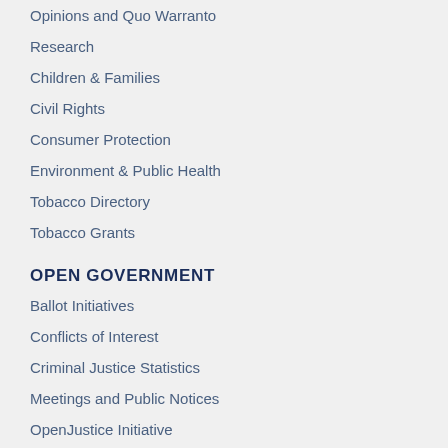Opinions and Quo Warranto
Research
Children & Families
Civil Rights
Consumer Protection
Environment & Public Health
Tobacco Directory
Tobacco Grants
OPEN GOVERNMENT
Ballot Initiatives
Conflicts of Interest
Criminal Justice Statistics
Meetings and Public Notices
OpenJustice Initiative